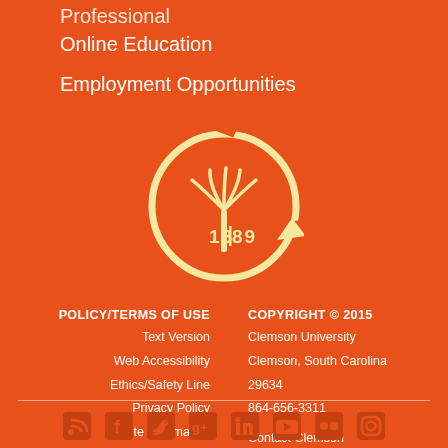Professional
Online Education
Employment Opportunities
[Figure (logo): Clemson University circular logo with stylized C, palm tree, and year 1889 in cream/yellow on orange background]
POLICY/TERMS OF USE
Text Version
Web Accessibility
Ethics/Safety Line
Privacy Policy
Site Information
COPYRIGHT © 2015
Clemson University
Clemson, South Carolina 29634
864-656-3311
Contact Clemson
[Figure (infographic): Social media icons row: RSS, Facebook, Twitter, Google+, LinkedIn, YouTube, Flickr, Instagram — all in dark orange on orange background]